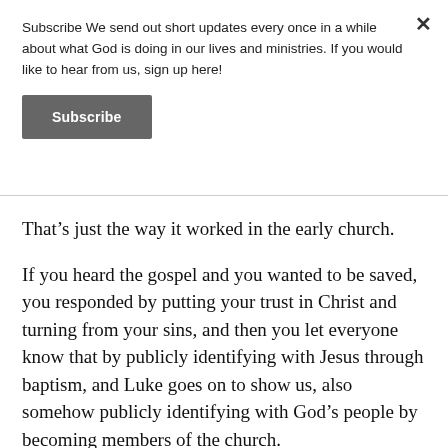Subscribe We send out short updates every once in a while about what God is doing in our lives and ministries. If you would like to hear from us, sign up here!
Subscribe
That’s just the way it worked in the early church.
If you heard the gospel and you wanted to be saved, you responded by putting your trust in Christ and turning from your sins, and then you let everyone know that by publicly identifying with Jesus through baptism, and Luke goes on to show us, also somehow publicly identifying with God’s people by becoming members of the church.